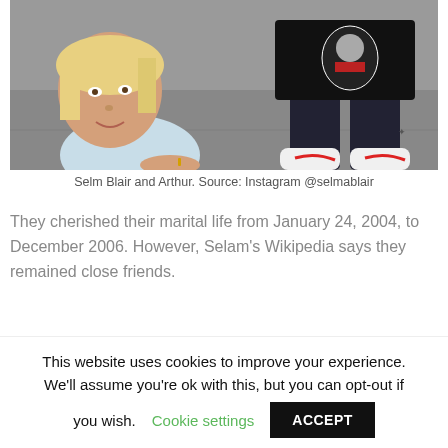[Figure (photo): Photo of Selma Blair and Arthur sitting/crouching on the ground outdoors. Selma is on the left wearing a light blue top, Arthur on the right wearing a black graphic tee and white Nike sneakers.]
Selm Blair and Arthur. Source: Instagram @selmablair
They cherished their marital life from January 24, 2004, to December 2006. However, Selam's Wikipedia says they remained close friends.
Career Overview
This website uses cookies to improve your experience. We'll assume you're ok with this, but you can opt-out if you wish. Cookie settings ACCEPT